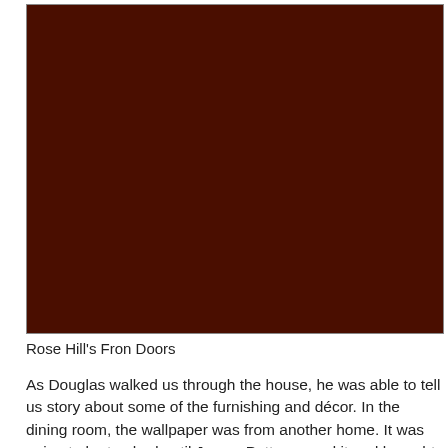[Figure (photo): A dark reddish-brown photograph of Rose Hill's front doors, appearing very dark/underexposed.]
Rose Hill's Fron Doors
As Douglas walked us through the house, he was able to tell us story about some of the furnishing and décor. In the dining room, the wallpaper was from another home. It was going to be trashed until James Patton saved it and brought it to Rose Hill. In the